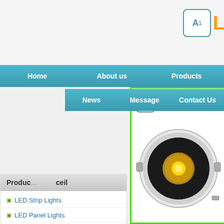[Figure (logo): A1 LED-CN logo in top right corner with teal bordered box containing A1 text and orange LED letters]
Home    About us    Products
News    Message    Contact Us
Products
LED Strip Lights
LED Panel Lights
LED Downlights
LED Floodlights
LED Bulbs&Spotlights
LED High Bay lights
LED Power Supply
LED Controller
Contact Us
Aled-CN Lighting Ltd
Http://www.aled-cn.com
[Figure (photo): LED-CN logo with A1 box icon and orange LED text, above a product photo of a circular white LED downlight with gold COB LED center and mounting clips]